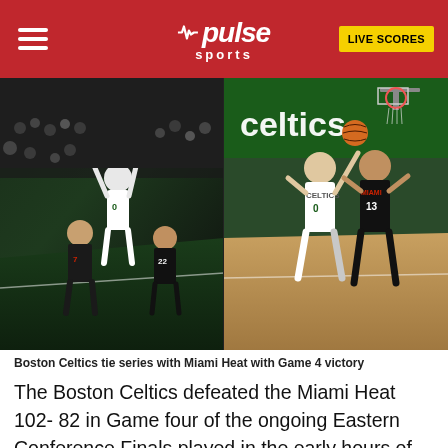pulse sports | LIVE SCORES
[Figure (photo): Two basketball action photos side by side: left shows a Boston Celtics player (number 0) dunking in a green arena with Miami Heat defenders; right shows Celtics player 0 and Miami Heat player 13 battling under the basket with 'celtics' signage visible in the background.]
Boston Celtics tie series with Miami Heat with Game 4 victory
The Boston Celtics defeated the Miami Heat 102- 82 in Game four of the ongoing Eastern Conference Finals played in the early hours of Tuesday, May 24, 2022.